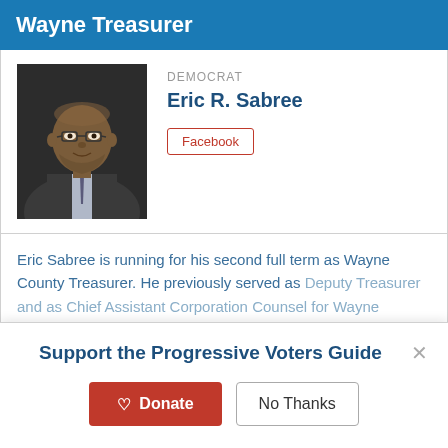Wayne Treasurer
DEMOCRAT
Eric R. Sabree
Facebook
[Figure (photo): Headshot photo of Eric R. Sabree, a middle-aged African American man wearing glasses and a suit with tie, smiling slightly]
Eric Sabree is running for his second full term as Wayne County Treasurer. He previously served as Deputy Treasurer and as Chief Assistant Corporation Counsel for Wayne County.
Support the Progressive Voters Guide
Donate
No Thanks